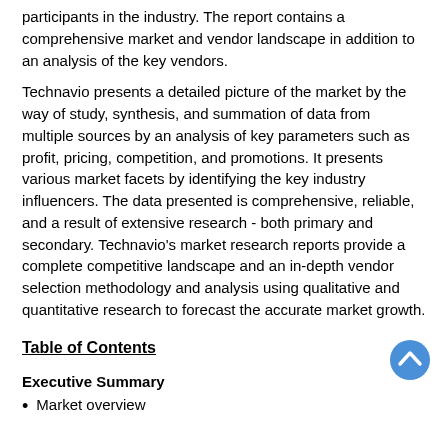participants in the industry. The report contains a comprehensive market and vendor landscape in addition to an analysis of the key vendors.
Technavio presents a detailed picture of the market by the way of study, synthesis, and summation of data from multiple sources by an analysis of key parameters such as profit, pricing, competition, and promotions. It presents various market facets by identifying the key industry influencers. The data presented is comprehensive, reliable, and a result of extensive research - both primary and secondary. Technavio's market research reports provide a complete competitive landscape and an in-depth vendor selection methodology and analysis using qualitative and quantitative research to forecast the accurate market growth.
Table of Contents
Executive Summary
Market overview